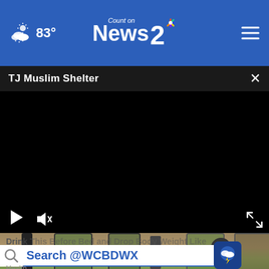83° Count on News 2 NBC
TJ Muslim Shelter
[Figure (screenshot): Black video player area with play button, mute icon, and fullscreen icon controls]
[Figure (photo): Partial photo visible at bottom showing jars with green plants]
Drink This Before Bed and Drop Body Weight Like Crazy
Search @WCBDWX
Health